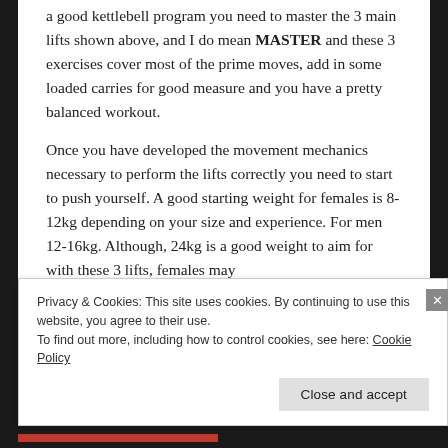a good kettlebell program you need to master the 3 main lifts shown above, and I do mean MASTER and these 3 exercises cover most of the prime moves, add in some loaded carries for good measure and you have a pretty balanced workout.
Once you have developed the movement mechanics necessary to perform the lifts correctly you need to start to push yourself. A good starting weight for females is 8-12kg depending on your size and experience. For men 12-16kg. Although, 24kg is a good weight to aim for with these 3 lifts, females may
Privacy & Cookies: This site uses cookies. By continuing to use this website, you agree to their use.
To find out more, including how to control cookies, see here: Cookie Policy